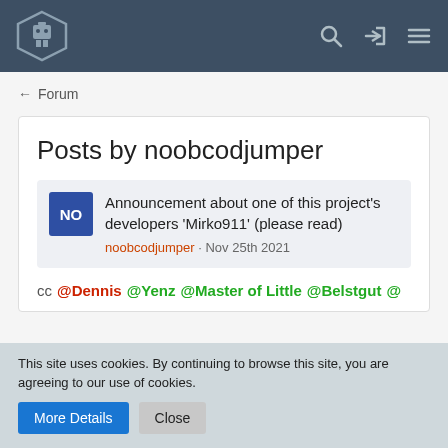[Figure (logo): Navigation bar with hexagon robot logo and icons for search, login, and menu on dark blue background]
← Forum
Posts by noobcodjumper
Announcement about one of this project's developers 'Mirko911' (please read)
noobcodjumper · Nov 25th 2021
cc @Dennis @Yenz @Master of Little @Belstgut @
This site uses cookies. By continuing to browse this site, you are agreeing to our use of cookies.